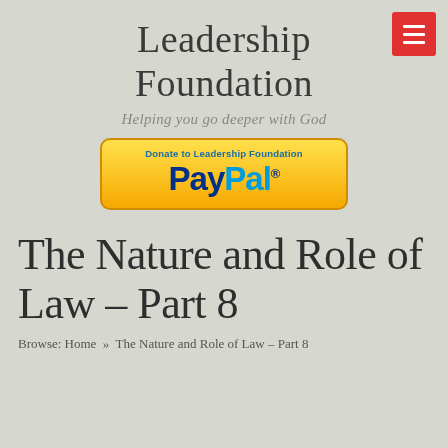Leadership Foundation
Helping you go deeper with God
[Figure (logo): PayPal donation button with yellow gradient background, 'Donate to Leadership Foundation' text in blue above the PayPal logo in blue and light-blue.]
The Nature and Role of Law – Part 8
Browse: Home » The Nature and Role of Law – Part 8